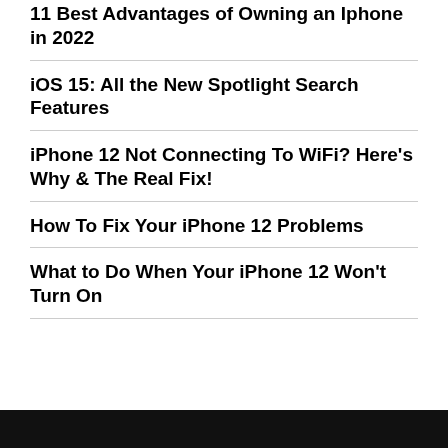11 Best Advantages of Owning an Iphone in 2022
iOS 15: All the New Spotlight Search Features
iPhone 12 Not Connecting To WiFi? Here's Why & The Real Fix!
How To Fix Your iPhone 12 Problems
What to Do When Your iPhone 12 Won't Turn On